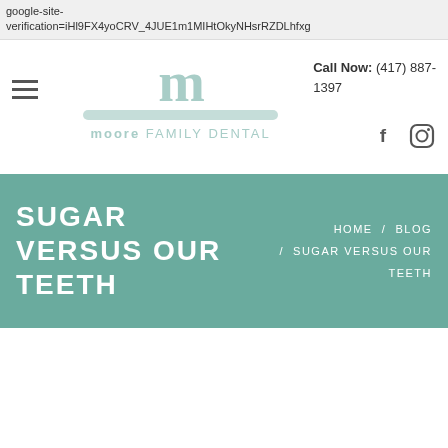google-site-verification=iHl9FX4yoCRV_4JUE1m1MIHtOkyNHsrRZDLhfxg
[Figure (logo): Moore Family Dental logo with stylized lowercase 'm' in teal, a teal horizontal bar, and text 'moore FAMILY DENTAL']
Call Now:
(417) 887-1397
[Figure (other): Facebook and Instagram social media icons]
SUGAR VERSUS OUR TEETH
HOME / BLOG / SUGAR VERSUS OUR TEETH